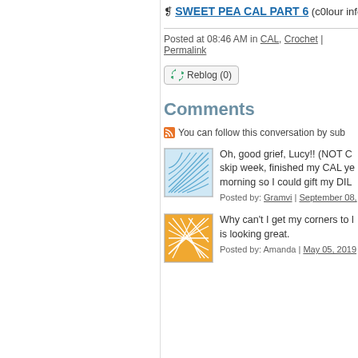❡ SWEET PEA CAL PART 6 (c0lour info f…
Posted at 08:46 AM in CAL, Crochet | Permalink
[Figure (other): Reblog (0) button with recycle icon]
Comments
You can follow this conversation by sub…
[Figure (illustration): Blue wave pattern avatar]
Oh, good grief, Lucy!! (NOT C… skip week, finished my CAL ye… morning so I could gift my DIL…
Posted by: Gramvi | September 08,…
[Figure (illustration): Orange geometric pattern avatar]
Why can't I get my corners to l… is looking great.
Posted by: Amanda | May 05, 2019…